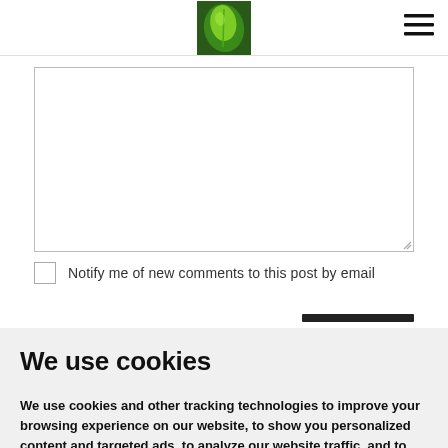[Figure (logo): Green leaf logo image centered in the page header]
[Figure (illustration): Hamburger menu icon (three horizontal lines) in the top right corner]
[Figure (screenshot): Comment text area input box with resize handle in bottom right]
Notify me of new comments to this post by email
We use cookies
We use cookies and other tracking technologies to improve your browsing experience on our website, to show you personalized content and targeted ads, to analyze our website traffic, and to